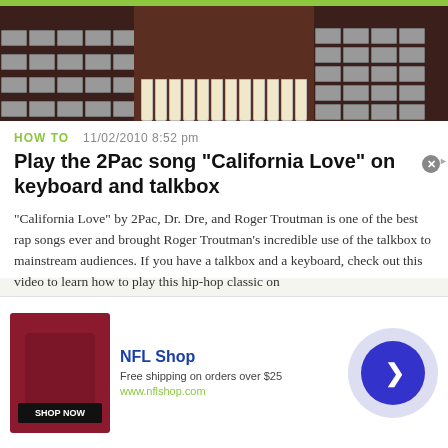[Figure (photo): Piano keyboard hero image with dark brown/maroon background showing piano keys and gray keyboard keys on sides]
HOW TO   11/02/2010 8:52 pm
Play the 2Pac song "California Love" on keyboard and talkbox
"California Love" by 2Pac, Dr. Dre, and Roger Troutman is one of the best rap songs ever and brought Roger Troutman's incredible use of the talkbox to mainstream audiences. If you have a talkbox and a keyboard, check out this video to learn how to play this hip-hop classic on
...more
[Figure (photo): NFL Shop advertisement with red bag image, shop now button, NFL Shop title, free shipping offer, and blue arrow circle button]